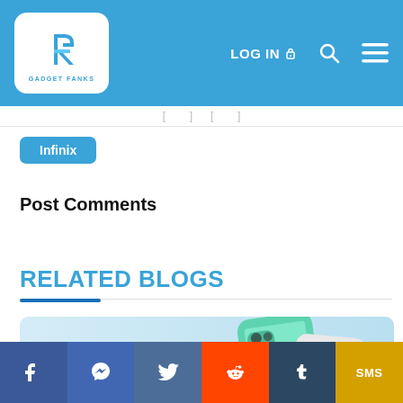GADGET FANKS — LOG IN — Search — Menu
Infinix
Post Comments
RELATED BLOGS
[Figure (photo): Infinix HOT 12 SERIES blog card with teal/green smartphones on light blue background]
Social share bar: Facebook, Messenger, Twitter, Reddit, Tumblr, SMS